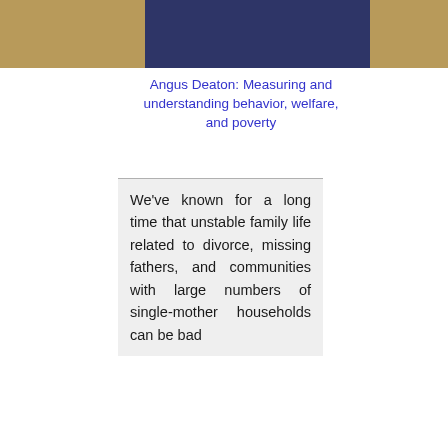[Figure (other): Header bar with tan-gold left section, dark navy center section, and tan-gold right section]
Angus Deaton: Measuring and understanding behavior, welfare, and poverty
We've known for a long time that unstable family life related to divorce, missing fathers, and communities with large numbers of single-mother households can be bad